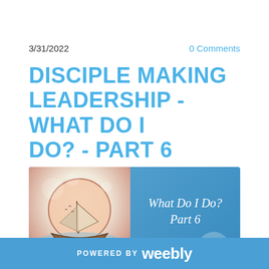3/31/2022
0 Comments
DISCIPLE MAKING LEADERSHIP - WHAT DO I DO? - PART 6
[Figure (illustration): Blue banner image with a sailboat illustration on the left side and white italic text 'What Do I Do? Part 6' on the right side on a blue gradient background.]
POWERED BY weebly